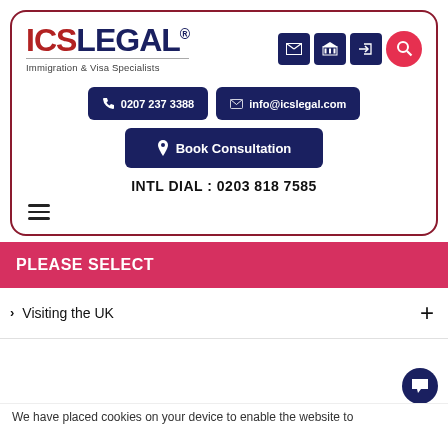[Figure (logo): ICS Legal logo — red ICS letters, dark navy LEGAL text, tagline Immigration & Visa Specialists]
0207 237 3388
info@icslegal.com
Book Consultation
INTL DIAL : 0203 818 7585
PLEASE SELECT
Visiting the UK
We have placed cookies on your device to enable the website to